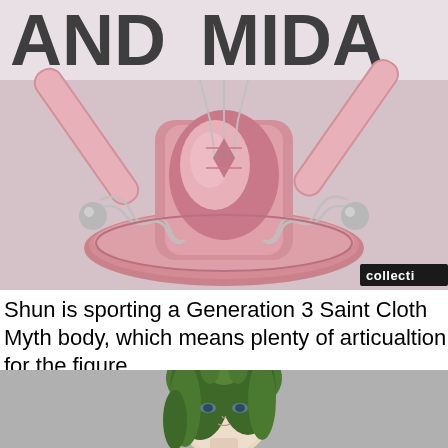[Figure (photo): Close-up photo of a pink metallic Saint Cloth Myth figure (Andromeda Shun armor/cloth object) with silver chains hanging from it, on a pink metallic base. Black and white text background partially visible behind. A small black badge in the bottom-right corner reads 'collecti'.]
Shun is sporting a Generation 3 Saint Cloth Myth body, which means plenty of articualtion for the figure.
[Figure (photo): Bottom portion of image showing a green-haired anime-style figure head/bust against a gray background. The figure has dark green long hair and a detailed face.]